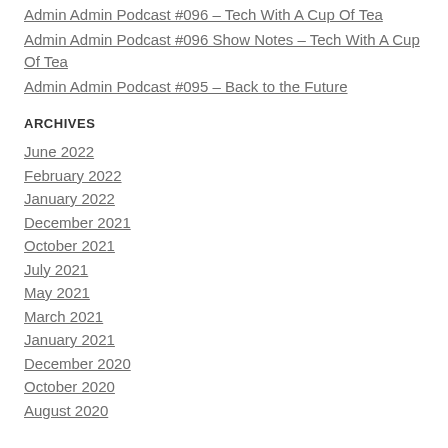Admin Admin Podcast #096 – Tech With A Cup Of Tea
Admin Admin Podcast #096 Show Notes – Tech With A Cup Of Tea
Admin Admin Podcast #095 – Back to the Future
ARCHIVES
June 2022
February 2022
January 2022
December 2021
October 2021
July 2021
May 2021
March 2021
January 2021
December 2020
October 2020
August 2020